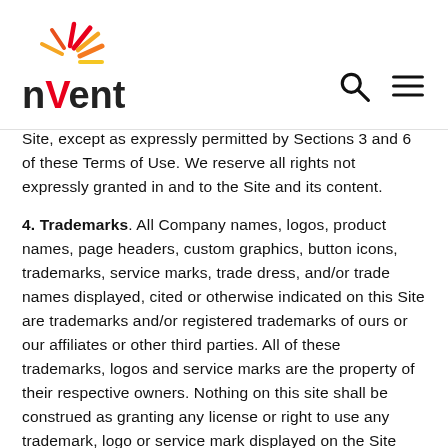nVent
Site, except as expressly permitted by Sections 3 and 6 of these Terms of Use. We reserve all rights not expressly granted in and to the Site and its content.
4. Trademarks. All Company names, logos, product names, page headers, custom graphics, button icons, trademarks, service marks, trade dress, and/or trade names displayed, cited or otherwise indicated on this Site are trademarks and/or registered trademarks of ours or our affiliates or other third parties. All of these trademarks, logos and service marks are the property of their respective owners. Nothing on this site shall be construed as granting any license or right to use any trademark, logo or service mark displayed on the Site without the owner's prior written permission, except as otherwise described herein. The copying, redistribution, use or publication by you of any third party marks is strictly prohibited. The copying, redistribution, use or publication by you of any of our